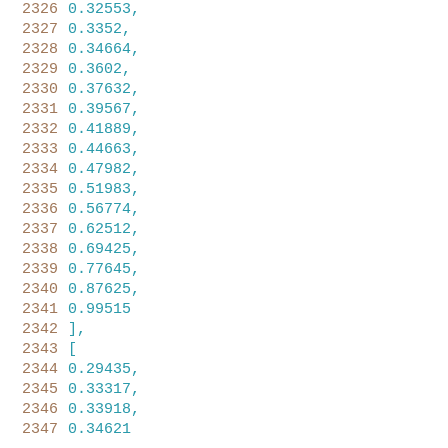2326    0.32553,
2327    0.3352,
2328    0.34664,
2329    0.3602,
2330    0.37632,
2331    0.39567,
2332    0.41889,
2333    0.44663,
2334    0.47982,
2335    0.51983,
2336    0.56774,
2337    0.62512,
2338    0.69425,
2339    0.77645,
2340    0.87625,
2341    0.99515
2342    ],
2343    [
2344    0.29435,
2345    0.33317,
2346    0.33918,
2347    0.34621